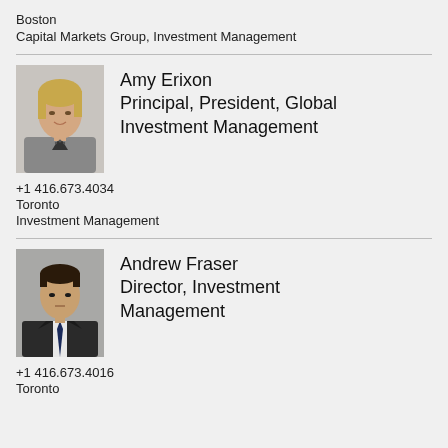Boston
Capital Markets Group, Investment Management
[Figure (photo): Professional headshot of Amy Erixon, woman with blonde hair wearing a gray cardigan]
Amy Erixon
Principal, President, Global Investment Management
+1 416.673.4034
Toronto
Investment Management
[Figure (photo): Professional headshot of Andrew Fraser, man in a dark suit with tie]
Andrew Fraser
Director, Investment Management
+1 416.673.4016
Toronto